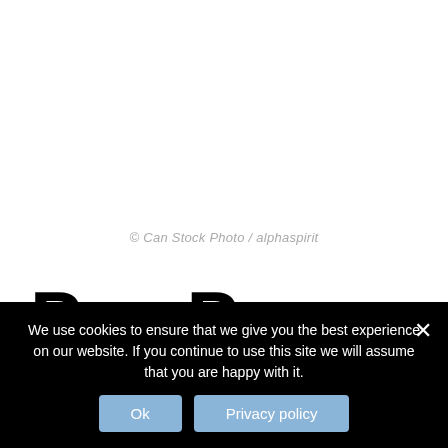© Can Stock Photo / alphaspirit
Pay Per Play
In the early days, the only practical way to play video games was to physically visit an arcade and load coins into
We use cookies to ensure that we give you the best experience on our website. If you continue to use this site we will assume that you are happy with it.